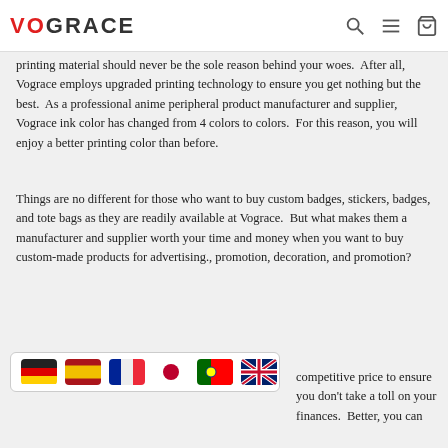VOGRACE
printing material should never be the sole reason behind your woes. After all, Vograce employs upgraded printing technology to ensure you get nothing but the best. As a professional anime peripheral product manufacturer and supplier, Vograce ink color has changed from 4 colors to colors. For this reason, you will enjoy a better printing color than before.
Things are no different for those who want to buy custom badges, stickers, badges, and tote bags as they are readily available at Vograce. But what makes them a manufacturer and supplier worth your time and money when you want to buy custom-made products for advertising., promotion, decoration, and promotion?
[Figure (infographic): Row of six country flag icons: Germany, Spain, France, Japan, Portugal, United Kingdom]
competitive price to ensure you don't take a toll on your finances. Better, you can